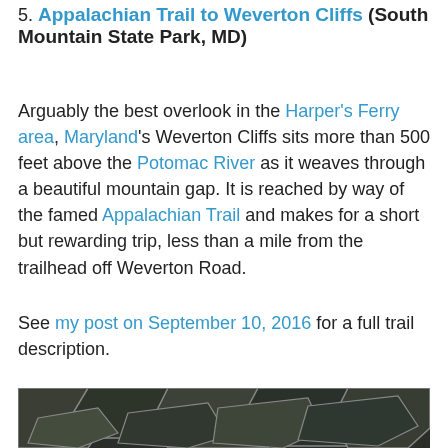5. Appalachian Trail to Weverton Cliffs (South Mountain State Park, MD)
Arguably the best overlook in the Harper's Ferry area, Maryland's Weverton Cliffs sits more than 500 feet above the Potomac River as it weaves through a beautiful mountain gap. It is reached by way of the famed Appalachian Trail and makes for a short but rewarding trip, less than a mile from the trailhead off Weverton Road.
See my post on September 10, 2016 for a full trail description.
[Figure (photo): Close-up photograph of large dark hexagonal/polygonal rock formations at Weverton Cliffs]